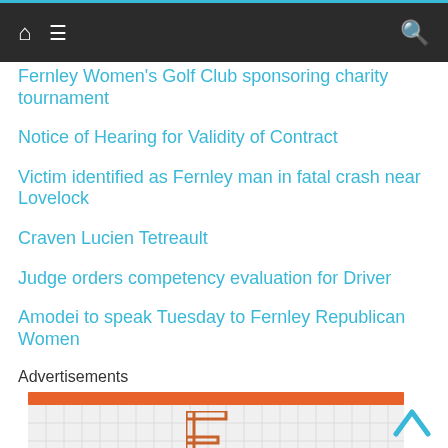Navigation bar with home icon, menu icon, and search icon
Fernley Women's Golf Club sponsoring charity tournament
Notice of Hearing for Validity of Contract
Victim identified as Fernley man in fatal crash near Lovelock
Craven Lucien Tetreault
Judge orders competency evaluation for Driver
Amodei to speak Tuesday to Fernley Republican Women
Advertisements
[Figure (logo): Fernley Community Foundation advertisement banner with orange top bar and logo on grid-pattern background]